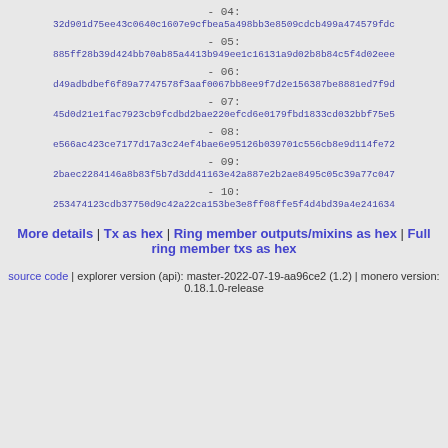- 04:
32d901d75ee43c0640c1607e9cfbea5a498bb3e8509cdcb499a474579fdc
- 05:
885ff28b39d424bb70ab85a4413b949ee1c16131a9d02b8b84c5f4d02eee
- 06:
d49adbdbef6f89a7747578f3aaf0067bb8ee9f7d2e156387be8881ed7f9d
- 07:
45d0d21e1fac7923cb9fcdbd2bae220efcd6e0179fbd1833cd032bbf75e5
- 08:
e566ac423ce7177d17a3c24ef4bae6e95126b039701c556cb8e9d114fe72
- 09:
2baec2284146a8b83f5b7d3dd41163e42a887e2b2ae8495c05c39a77c047
- 10:
253474123cdb37750d9c42a22ca153be3e8ff08ffe5f4d4bd39a4e241634
More details | Tx as hex | Ring member outputs/mixins as hex | Full ring member txs as hex
source code | explorer version (api): master-2022-07-19-aa96ce2 (1.2) | monero version: 0.18.1.0-release